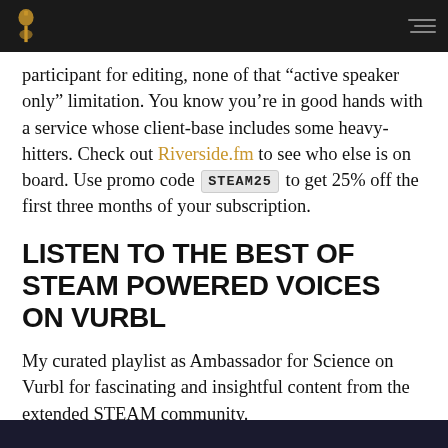Steam Powered Voices
participant for editing, none of that “active speaker only” limitation. You know you’re in good hands with a service whose client-base includes some heavy-hitters. Check out Riverside.fm to see who else is on board. Use promo code STEAM25 to get 25% off the first three months of your subscription.
LISTEN TO THE BEST OF STEAM POWERED VOICES ON VURBL
My curated playlist as Ambassador for Science on Vurbl for fascinating and insightful content from the extended STEAM community.